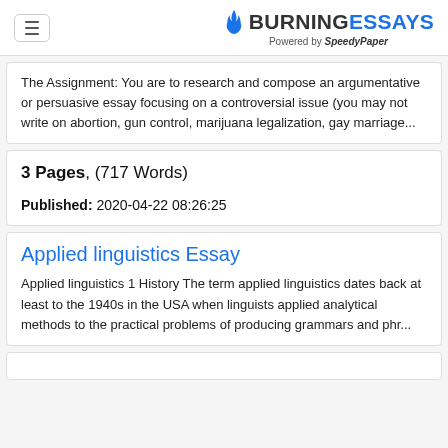BURNINGESSAYS Powered by SpeedyPaper
The Assignment: You are to research and compose an argumentative or persuasive essay focusing on a controversial issue (you may not write on abortion, gun control, marijuana legalization, gay marriage...
3 Pages, (717 Words)

Published: 2020-04-22 08:26:25
Applied linguistics Essay
Applied linguistics 1 History The term applied linguistics dates back at least to the 1940s in the USA when linguists applied analytical methods to the practical problems of producing grammars and phr...